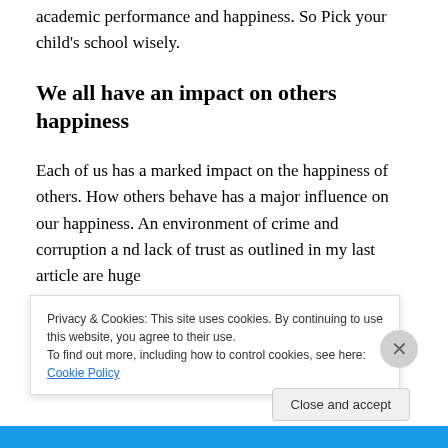academic performance and happiness. So Pick your child's school wisely.
We all have an impact on others happiness
Each of us has a marked impact on the happiness of others. How others behave has a major influence on our happiness. An environment of crime and corruption a nd lack of trust as outlined in my last article are huge
Privacy & Cookies: This site uses cookies. By continuing to use this website, you agree to their use.
To find out more, including how to control cookies, see here: Cookie Policy
Close and accept